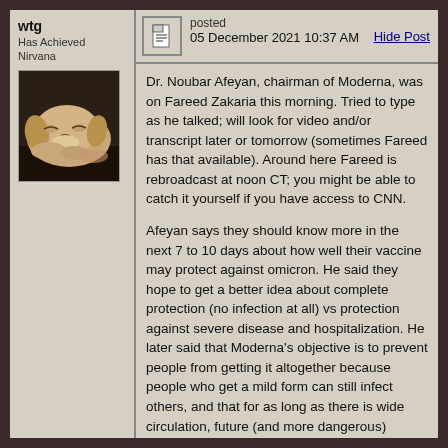wtg
Has Achieved Nirvana
[Figure (photo): Avatar photo of a golden/yellow dog lying down on a dark surface]
posted
05 December 2021 10:37 AM
Hide Post
Dr. Noubar Afeyan, chairman of Moderna, was on Fareed Zakaria this morning. Tried to type as he talked; will look for video and/or transcript later or tomorrow (sometimes Fareed has that available). Around here Fareed is rebroadcast at noon CT; you might be able to catch it yourself if you have access to CNN.
Afeyan says they should know more in the next 7 to 10 days about how well their vaccine may protect against omicron. He said they hope to get a better idea about complete protection (no infection at all) vs protection against severe disease and hospitalization. He later said that Moderna's objective is to prevent people from getting it altogether because people who get a mild form can still infect others, and that for as long as there is wide circulation, future (and more dangerous) variants can develop, perpetuating the cycle.
If the vaccine doesn't seem to be protective, he talked about three approaches: